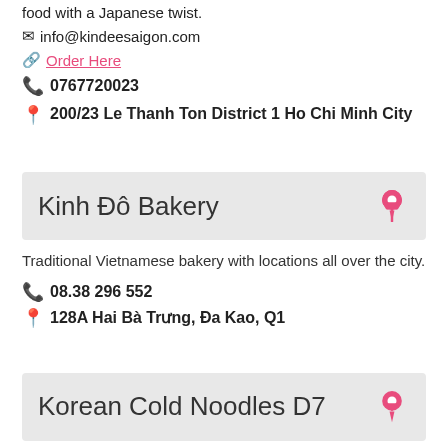food with a Japanese twist.
✉ info@kindeesaigon.com
🔗 Order Here
📞 0767720023
📍 200/23 Le Thanh Ton District 1 Ho Chi Minh City
Kinh Đô Bakery
Traditional Vietnamese bakery with locations all over the city.
📞 08.38 296 552
📍 128A Hai Bà Trưng, Đa Kao, Q1
Korean Cold Noodles D7
The most authentic naengmyeon (cold noodles) shops in town.